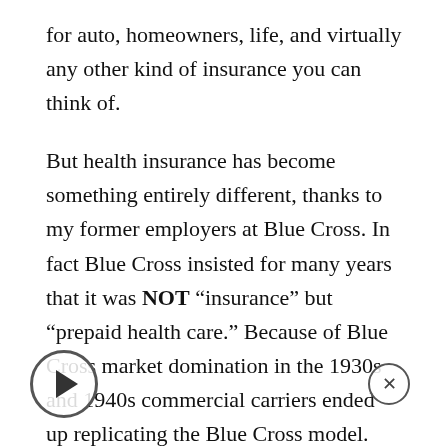for auto, homeowners, life, and virtually any other kind of insurance you can think of.
But health insurance has become something entirely different, thanks to my former employers at Blue Cross. In fact Blue Cross insisted for many years that it was NOT “insurance” but “prepaid health care.” Because of Blue Cross market domination in the 1930s and 1940s commercial carriers ended up replicating the Blue Cross model.
Today, all health insurance is a combination of “insurance” for adverse events and “prepaid health care” for services that are low cost and predictable.